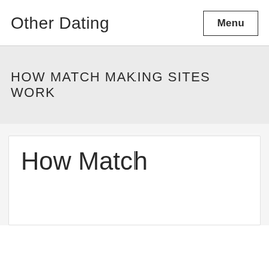Other Dating
HOW MATCH MAKING SITES WORK
How Match